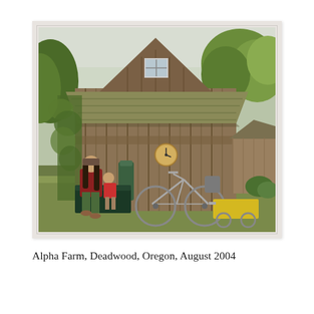[Figure (photo): A color photograph showing a rustic wooden barn-style building with a steeply pitched, moss-covered shingled roof and a small window at the gable. A man with long hair wearing a red top sits on a dark green bench/chest beside a young child in a red shirt. A bicycle with a yellow child trailer is parked in front of the weathered vertical-plank facade. A round clock hangs on the wall. Trees and misty hills are visible in the background. A smaller outbuilding is visible to the right.]
Alpha Farm, Deadwood, Oregon, August 2004